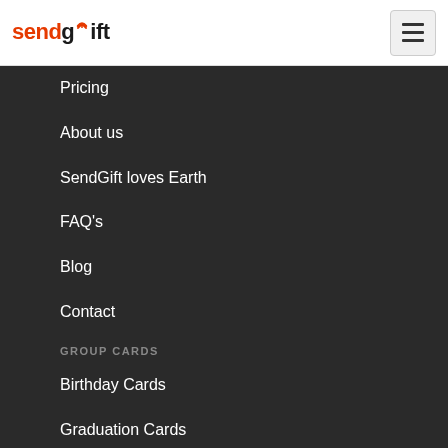[Figure (logo): SendGift logo with orange bird/heart icon above the letter i]
Pricing
About us
SendGift loves Earth
FAQ's
Blog
Contact
GROUP CARDS
Birthday Cards
Graduation Cards
Retirement Cards
Get well soon Cards
Wedding Cards